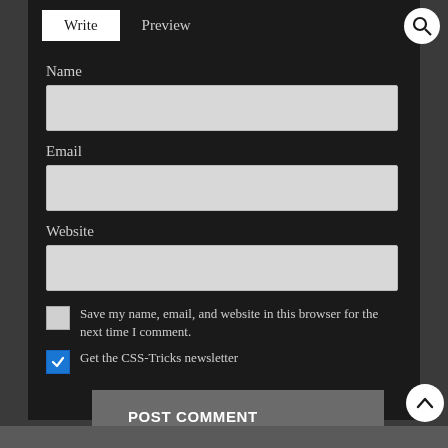[Figure (screenshot): Web form UI with dark background. Contains 'Write' and 'Preview' tabs at top, a search icon button (top right). Three text input fields labeled Name, Email, Website. Two checkboxes: unchecked 'Save my name, email, and website in this browser for the next time I comment.' and checked (blue) 'Get the CSS-Tricks newsletter'. A 'POST COMMENT' button. Scroll-to-top button at bottom right.]